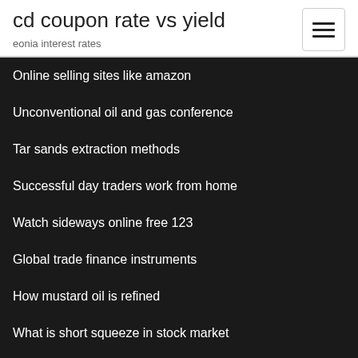cd coupon rate vs yield
eonia interest rates
Online selling sites like amazon
Unconventional oil and gas conference
Tar sands extraction methods
Successful day traders work from home
Watch sideways online free 123
Global trade finance instruments
How mustard oil is refined
What is short squeeze in stock market
Tags